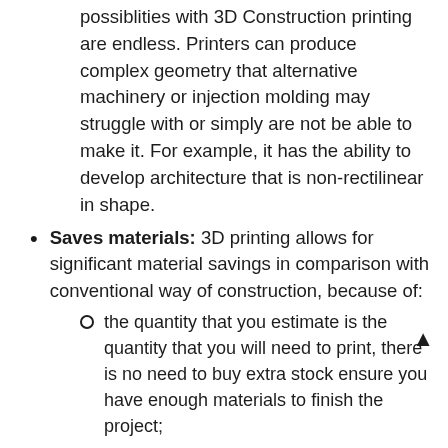possiblities with 3D Construction printing are endless. Printers can produce complex geometry that alternative machinery or injection molding may struggle with or simply are not be able to make it. For example, it has the ability to develop architecture that is non-rectilinear in shape.
Saves materials: 3D printing allows for significant material savings in comparison with conventional way of construction, because of:
the quantity that you estimate is the quantity that you will need to print, there is no need to buy extra stock ensure you have enough materials to finish the project;
eliminates rework due to human errors